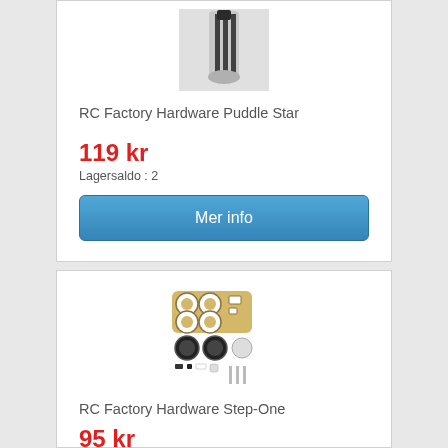[Figure (photo): Product photo of RC Factory Hardware Puddle Star - shows a white/silver aerobatic model airplane component piece]
RC Factory Hardware Puddle Star
119 kr
Lagersaldo : 2
Mer info
[Figure (photo): Product photo of RC Factory Hardware Step-One - laser cut wooden kit parts with wheels, rods, and small components laid out]
RC Factory Hardware Step-One
95 kr